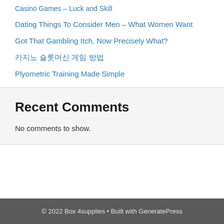Casino Games – Luck and Skill
Dating Things To Consider Men – What Women Want
Got That Gambling Itch, Now Precisely What?
카지노 슬롯머신 게임 방법
Plyometric Training Made Simple
Recent Comments
No comments to show.
© 2022 Box 4supplies • Built with GeneratePress